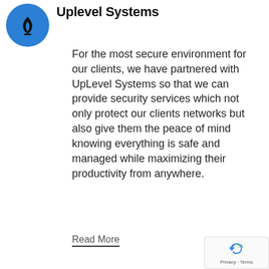[Figure (logo): Blue circle with a white flame/torch icon representing UpLevel Systems logo]
Uplevel Systems
For the most secure environment for our clients, we have partnered with UpLevel Systems so that we can provide security services which not only protect our clients networks but also give them the peace of mind knowing everything is safe and managed while maximizing their productivity from anywhere.
Read More